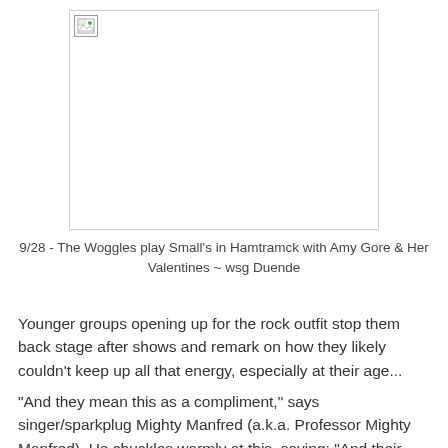[Figure (photo): Broken/missing image placeholder with small icon in top-left corner, white background with border]
9/28 - The Woggles play Small's in Hamtramck with Amy Gore & Her Valentines ~ wsg Duende
Younger groups opening up for the rock outfit stop them back stage after shows and remark on how they likely couldn't keep up all that energy, especially at their age...
"And they mean this as a compliment," says singer/sparkplug Mighty Manfred (a.k.a. Professor Mighty Manfred). He chuckles warmly at this, saying: "And their wondering how